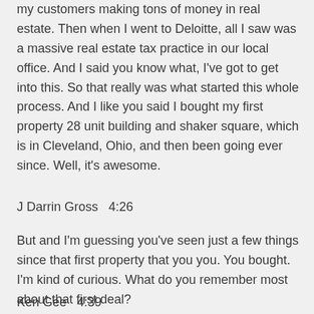my customers making tons of money in real estate. Then when I went to Deloitte, all I saw was a massive real estate tax practice in our local office. And I said you know what, I've got to get into this. So that really was what started this whole process. And I like you said I bought my first property 28 unit building and shaker square, which is in Cleveland, Ohio, and then been going ever since. Well, it's awesome.
J Darrin Gross  4:26
But and I'm guessing you've seen just a few things since that first property that you you. You bought. I'm kind of curious. What do you remember most about that first deal?
Ken Gee  4:39